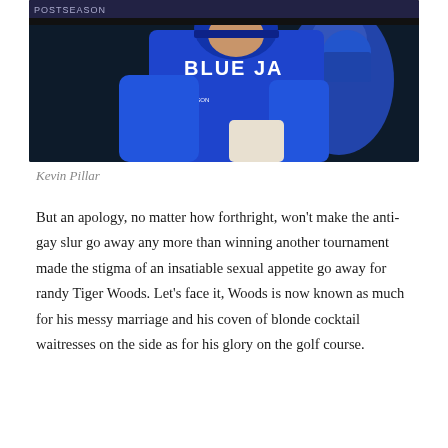[Figure (photo): Kevin Pillar in a blue Toronto Blue Jays uniform including long blue sleeves, with ALCS patch visible on sleeve. He appears to be at bat or walking on the field. Another player in blue helmet visible in background.]
Kevin Pillar
But an apology, no matter how forthright, won't make the anti-gay slur go away any more than winning another tournament made the stigma of an insatiable sexual appetite go away for randy Tiger Woods. Let's face it, Woods is now known as much for his messy marriage and his coven of blonde cocktail waitresses on the side as for his glory on the golf course.